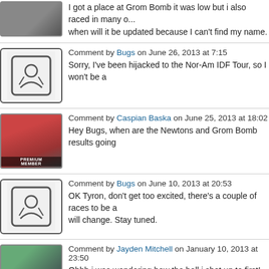I got a place at Grom Bomb it was low but i also raced in many other races. when will it be updated because I can't find my name.
Comment by Bugs on June 26, 2013 at 7:15 — Sorry, I've been hijacked to the Nor-Am IDF Tour, so I won't be a...
Comment by Caspian Baska on June 25, 2013 at 18:02 — Hey Bugs, when are the Newtons and Grom Bomb results going...
Comment by Bugs on June 10, 2013 at 20:53 — OK Tyron, don't get too excited, there's a couple of races to be a... will change. Stay tuned.
Comment by Jayden Mitchell on January 10, 2013 at 23:50 — Ohhh i was wondering how the hell i shot up to first! Much love t...
Comment by Bugs on January 10, 2013 at 21:45 — Sorry, it was my fault. Points from all races were being included races. I've fixed it now. You weren't the only person affected - Ca... have been an unpleasant surprise. Sorry Caspian.
Comment by tyron knight on January 10, 2013 at 19:47 — 11th *